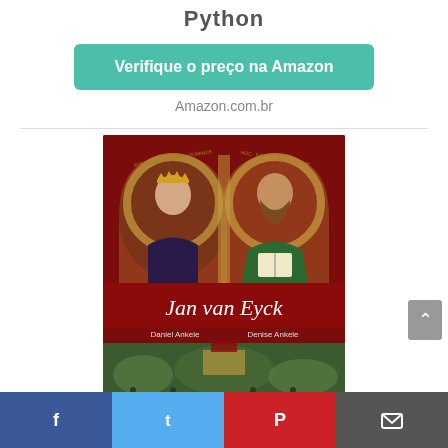Python
Verifique o preço na Amazon
Amazon.com.br
[Figure (photo): Book cover for 'Jan van Eyck' by Daniel Ankele and Denise Ankele, showing two religious paintings — a woman with a crown on the left and a bearded man on the right, with a crowd scene below.]
Facebook | Twitter | Pinterest | Email